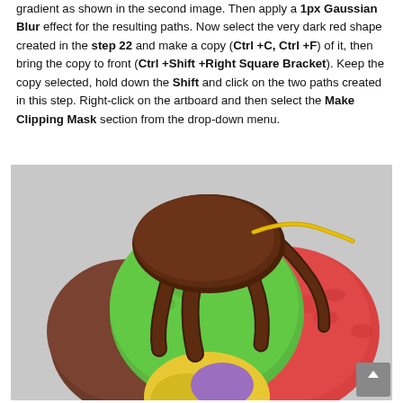gradient as shown in the second image. Then apply a 1px Gaussian Blur effect for the resulting paths. Now select the very dark red shape created in the step 22 and make a copy (Ctrl +C, Ctrl +F) of it, then bring the copy to front (Ctrl +Shift +Right Square Bracket). Keep the copy selected, hold down the Shift and click on the two paths created in this step. Right-click on the artboard and then select the Make Clipping Mask section from the drop-down menu.
[Figure (illustration): An illustration of three scoops of ice cream (green/mint, chocolate, and strawberry/red) with chocolate sauce dripping over them, and a yellow scoop partially visible at the bottom. The background is a light gray.]